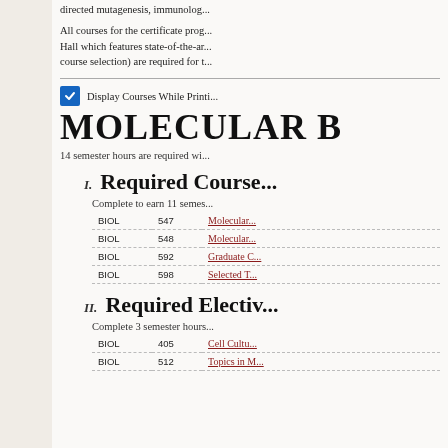directed mutagenesis, immunolog...
All courses for the certificate prog... Hall which features state-of-the-ar... course selection) are required for t...
Display Courses While Printi...
MOLECULAR B...
14 semester hours are required wi...
I. Required Course...
Complete to earn 11 semes...
| Dept | Num | Course |
| --- | --- | --- |
| BIOL | 547 | Molecular... |
| BIOL | 548 | Molecular... |
| BIOL | 592 | Graduate C... |
| BIOL | 598 | Selected T... |
II. Required Electiv...
Complete 3 semester hours...
| Dept | Num | Course |
| --- | --- | --- |
| BIOL | 405 | Cell Cultu... |
| BIOL | 512 | Topics in M... |